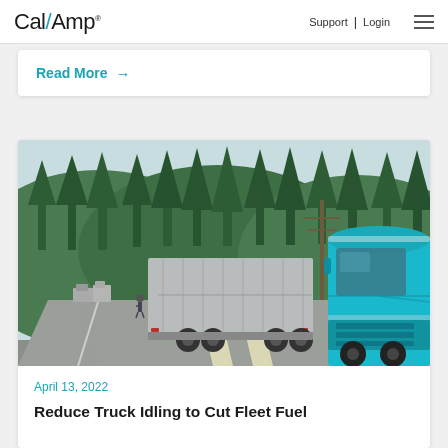Cal/Amp | Support | Login
Read More →
[Figure (photo): A line of semi-trucks including a bright teal/blue semi truck on the right, driving on a highway surrounded by evergreen forest and mountains.]
April 13, 2022
Reduce Truck Idling to Cut Fleet Fuel